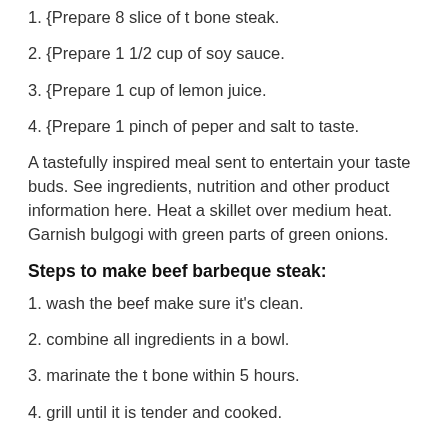1. {Prepare 8 slice of t bone steak.
2. {Prepare 1 1/2 cup of soy sauce.
3. {Prepare 1 cup of lemon juice.
4. {Prepare 1 pinch of peper and salt to taste.
A tastefully inspired meal sent to entertain your taste buds. See ingredients, nutrition and other product information here. Heat a skillet over medium heat. Garnish bulgogi with green parts of green onions.
Steps to make beef barbeque steak:
1. wash the beef make sure it's clean.
2. combine all ingredients in a bowl.
3. marinate the t bone within 5 hours.
4. grill until it is tender and cooked.